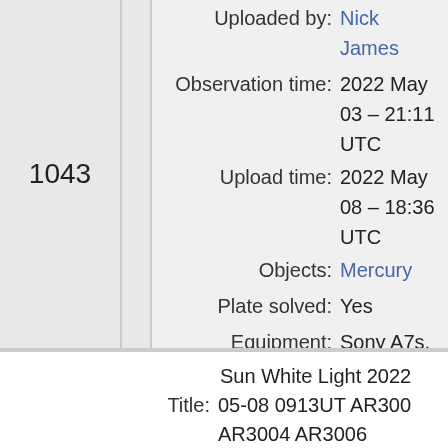|  | Field | Value |
| --- | --- | --- |
|  | Uploaded by: | Nick James |
|  | Observation time: | 2022 May 03 – 21:11 UTC |
|  | Upload time: | 2022 May 08 – 18:36 UTC |
| 1043 | Objects: | Mercury |
|  | Plate solved: | Yes |
|  | Equipment: | Sony A7s, 72mm f/6 refr. |
|  | Exposure: | 26x30s |
|  | Location: | La Palma, 2100m |
|  | Observer: | Nick James |
|  | Target name: | Mercury |
Sun White Light 2022 05-08 0913UT AR3004 AR3006
Title: 05-08 0913UT AR3004 AR3006